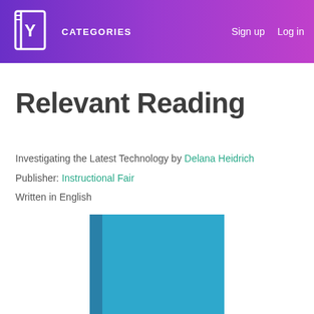[Figure (logo): Book logo with letter Y inside a book icon, white outline on gradient purple background]
CATEGORIES   Sign up   Log in
Relevant Reading
Investigating the Latest Technology by Delana Heidrich
Publisher: Instructional Fair
Written in English
[Figure (illustration): Blue book cover standing upright, teal/blue color with darker spine on the left side]